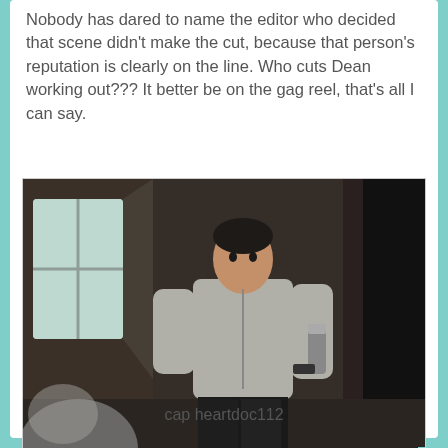Nobody has dared to name the editor who decided that scene didn't make the cut, because that person's reputation is clearly on the line. Who cuts Dean working out??? It better be on the gag reel, that's all I can say.
[Figure (photo): A man in a grey zip-up sweatshirt and black pants stands in a dimly lit interior space that resembles a church or old building, holding what appears to be a metal water bottle or thermos. Light comes from a window on the left side. A blurred figure is in the foreground bottom-left.]
cap heartdoc112